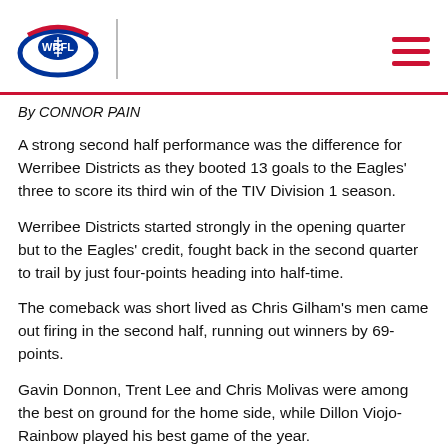[Figure (logo): WRFL (Western Region Football League) logo with football and swoosh design in red, white, and blue]
By CONNOR PAIN
A strong second half performance was the difference for Werribee Districts as they booted 13 goals to the Eagles' three to score its third win of the TIV Division 1 season.
Werribee Districts started strongly in the opening quarter but to the Eagles' credit, fought back in the second quarter to trail by just four-points heading into half-time.
The comeback was short lived as Chris Gilham's men came out firing in the second half, running out winners by 69-points.
Gavin Donnon, Trent Lee and Chris Molivas were among the best on ground for the home side, while Dillon Viojo-Rainbow played his best game of the year.
Werribee sit in sixth place on the TIV Division 1 ladder as